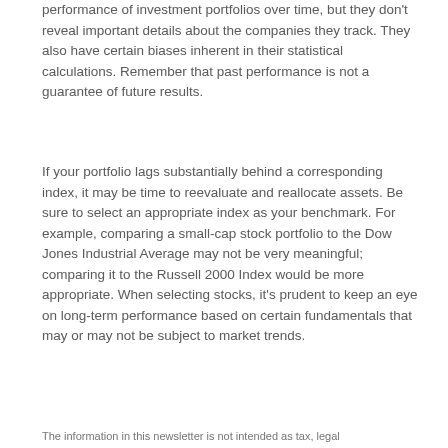performance of investment portfolios over time, but they don't reveal important details about the companies they track. They also have certain biases inherent in their statistical calculations. Remember that past performance is not a guarantee of future results.
If your portfolio lags substantially behind a corresponding index, it may be time to reevaluate and reallocate assets. Be sure to select an appropriate index as your benchmark. For example, comparing a small-cap stock portfolio to the Dow Jones Industrial Average may not be very meaningful; comparing it to the Russell 2000 Index would be more appropriate. When selecting stocks, it's prudent to keep an eye on long-term performance based on certain fundamentals that may or may not be subject to market trends.
The information in this newsletter is not intended as tax, legal